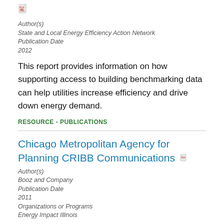[Figure (other): PDF file icon]
Author(s)
State and Local Energy Efficiency Action Network
Publication Date
2012
This report provides information on how supporting access to building benchmarking data can help utilities increase efficiency and drive down energy demand.
RESOURCE - PUBLICATIONS
Chicago Metropolitan Agency for Planning CRIBB Communications
Author(s)
Booz and Company
Publication Date
2011
Organizations or Programs
Energy Impact Illinois
This presentation provides the results of a 1,600-person survey of mid- to high-income households conducted by